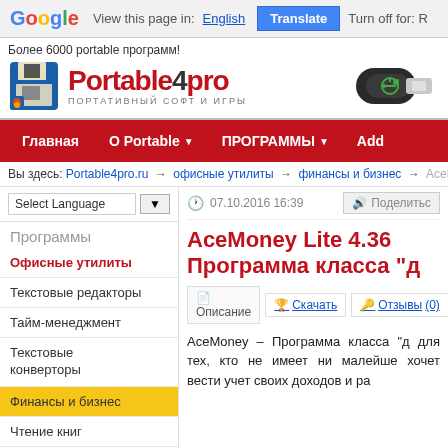Google  View this page in: English  Translate  Turn off for: R
[Figure (logo): Portable4pro logo with floppy disk icon and USB drive image, tagline: Более 6000 portable программ! ПОРТАТИВНЫЙ СОФТ И ИГРЫ]
Главная  О Portable ▼  ПРОГРАММЫ ▼  Add
Вы здесь: Portable4pro.ru → офисные утилиты → финансы и бизнес → AceMe
Select Language ▼
Программы
Офисные утилиты
Текстовые редакторы
Тайм-менеджмент
Текстовые конверторы
Финансы и бизнес
Чтение книг
07.10.2016 16:39  Поделитьс
AceMoney Lite 4.36 Программа класса "д
Описание  Скачать  Отзывы (0)
AceMoney – Программа класса "д для тех, кто не имеет ни малейше хочет вести учет своих доходов и ра